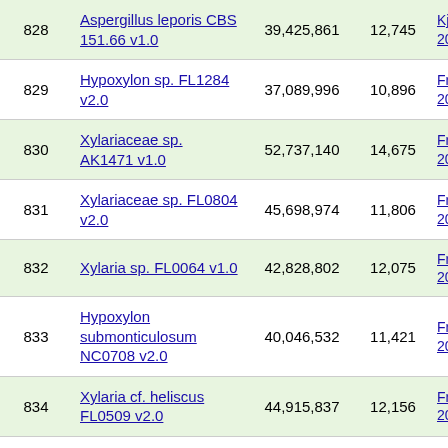| # | Species/Strain | Genome Size (bp) | Proteins | Reference |
| --- | --- | --- | --- | --- |
| 828 | Aspergillus leporis CBS 151.66 v1.0 | 39,425,861 | 12,745 | Kjærb al., 20 |
| 829 | Hypoxylon sp. FL1284 v2.0 | 37,089,996 | 10,896 | Franc al., 20 |
| 830 | Xylariaceae sp. AK1471 v1.0 | 52,737,140 | 14,675 | Franc al., 20 |
| 831 | Xylariaceae sp. FL0804 v2.0 | 45,698,974 | 11,806 | Franc al., 20 |
| 832 | Xylaria sp. FL0064 v1.0 | 42,828,802 | 12,075 | Franc al., 20 |
| 833 | Hypoxylon submonticulosum NC0708 v2.0 | 40,046,532 | 11,421 | Franc al., 20 |
| 834 | Xylaria cf. heliscus FL0509 v2.0 | 44,915,837 | 12,156 | Franc al., 20 |
| 835 | Atropellis piniphila CBS 197.64 v1.0 | 43,942,509 | 15,622 |  |
| 836 | Capronia fungicola CBS 614.96 v1.0 | 25,191,286 | 9,241 |  |
| 837 | Pisolithus orientalis | 57,007,920 | 18,000 |  |